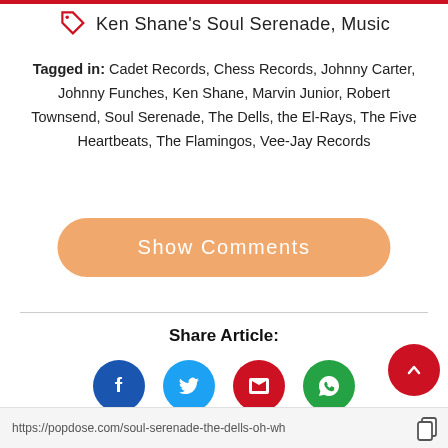Ken Shane's Soul Serenade, Music
Tagged in: Cadet Records, Chess Records, Johnny Carter, Johnny Funches, Ken Shane, Marvin Junior, Robert Townsend, Soul Serenade, The Dells, the El-Rays, The Five Heartbeats, The Flamingos, Vee-Jay Records
Show Comments
Share Article:
[Figure (infographic): Four social sharing icon circles: Facebook (blue), Twitter (light blue), Email (red), WhatsApp (green)]
https://popdose.com/soul-serenade-the-dells-oh-wh